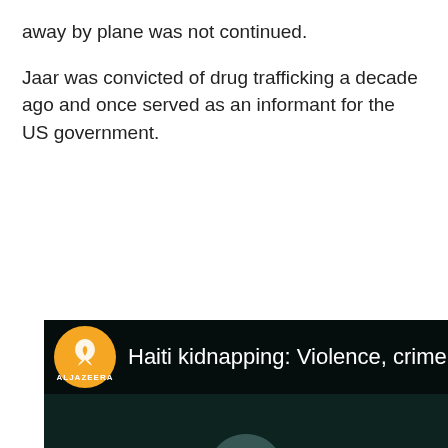away by plane was not continued.
Jaar was convicted of drug trafficking a decade ago and once served as an informant for the US government.
[Figure (screenshot): Al Jazeera video thumbnail showing the Al Jazeera logo watermark on a dark background with title text 'Haiti kidnapping: Violence, crime grow am' visible at the top, and a blue scroll-to-top button in the bottom right corner.]